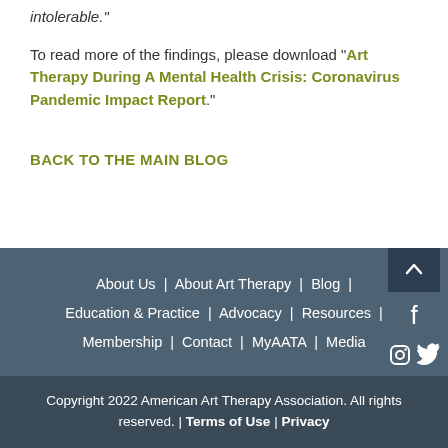intolerable."
To read more of the findings, please download "Art Therapy During A Mental Health Crisis: Coronavirus Pandemic Impact Report."
BACK TO THE MAIN BLOG
About Us | About Art Therapy | Blog | Education & Practice | Advocacy | Resources | Membership | Contact | MyAATA | Media
Copyright 2022 American Art Therapy Association. All rights reserved. | Terms of Use | Privacy